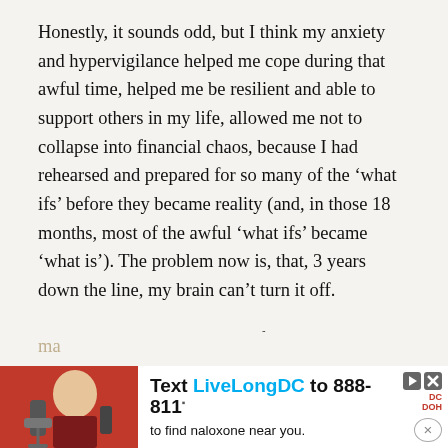Honestly, it sounds odd, but I think my anxiety and hypervigilance helped me cope during that awful time, helped me be resilient and able to support others in my life, allowed me not to collapse into financial chaos, because I had rehearsed and prepared for so many of the 'what ifs' before they became reality (and, in those 18 months, most of the awful 'what ifs' became 'what is'). The problem now is, that, 3 years down the line, my brain can't turn it off.
It's still adaptive sometimes– for instance, I stocked up on every possible thing I thought we'd need for a coronavirus outbreak back in mid-January (not masks, I know that's a no-no here in the States, though I did buy bandanas we could ma... tha...
[Figure (infographic): Advertisement banner: red background with person holding microphone on left; text 'Text LiveLongDC to 888-811 to find naloxone near you.' with DOH logo and close button on right.]